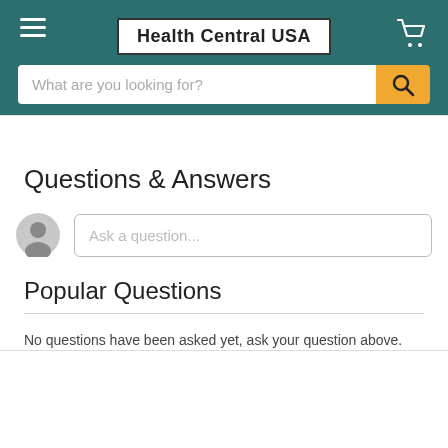Health Central USA
What are you looking for?
Free Shipping / Lowest Price Guarantee
Questions & Answers
Ask a question...
Popular Questions
No questions have been asked yet, ask your question above.